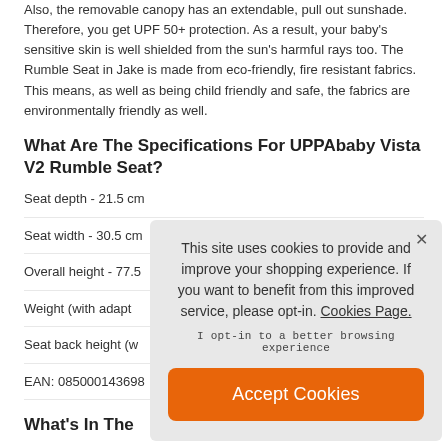Also, the removable canopy has an extendable, pull out sunshade. Therefore, you get UPF 50+ protection. As a result, your baby's sensitive skin is well shielded from the sun's harmful rays too. The Rumble Seat in Jake is made from eco-friendly, fire resistant fabrics. This means, as well as being child friendly and safe, the fabrics are environmentally friendly as well.
What Are The Specifications For UPPAbaby Vista V2 Rumble Seat?
Seat depth - 21.5 cm
Seat width - 30.5 cm
Overall height - 77.5...
Weight (with adapt...
Seat back height (w...
EAN: 085000143698...
What's In The...
Rumble seat
This site uses cookies to provide and improve your shopping experience. If you want to benefit from this improved service, please opt-in. Cookies Page.
I opt-in to a better browsing experience
Accept Cookies